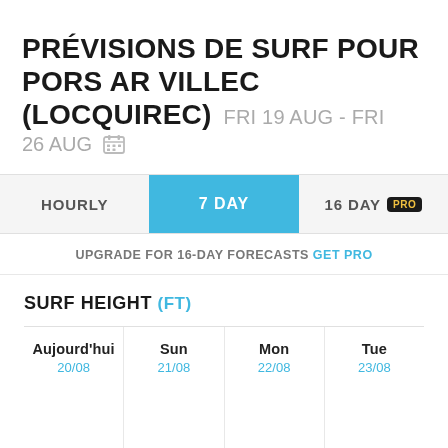PRÉVISIONS DE SURF POUR PORS AR VILLEC (LOCQUIREC) FRI 19 AUG - FRI 26 AUG
HOURLY | 7 DAY | 16 DAY PRO
UPGRADE FOR 16-DAY FORECASTS GET PRO
SURF HEIGHT (FT)
| Aujourd'hui | Sun | Mon | Tue |
| --- | --- | --- | --- |
| 20/08 | 21/08 | 22/08 | 23/08 |